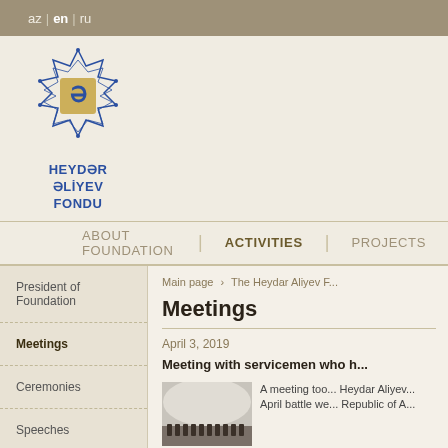az | en | ru
[Figure (logo): Heydar Aliyev Foundation logo with geometric star pattern and Azerbaijani script]
HEYDƏR ƏLİYEV FONDU
ABOUT FOUNDATION | ACTIVITIES | PROJECTS
President of Foundation
Meetings
Ceremonies
Speeches
Main page › The Heydar Aliyev F...
Meetings
April 3, 2019
Meeting with servicemen who h...
[Figure (photo): Photo of meeting with servicemen at Heydar Aliyev Foundation]
A meeting too... Heydar Aliyev... April battle we... Republic of A...